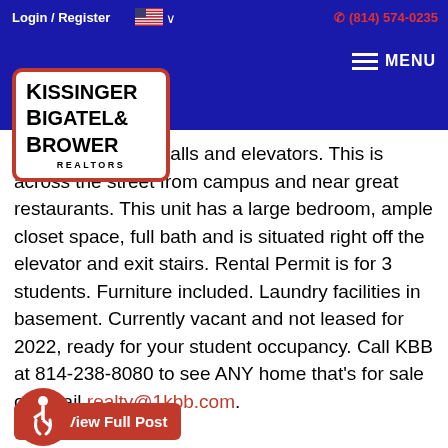Login / Register  🇺🇸 ∨  (814) 574-0235
[Figure (logo): Kissinger Bigatel & Brower Realtors logo in a white box with red border]
recently updated halls and elevators. This is across the street from campus and near great restaurants. This unit has a large bedroom, ample closet space, full bath and is situated right off the elevator and exit stairs. Rental Permit is for 3 students. Furniture included. Laundry facilities in basement. Currently vacant and not leased for 2022, ready for your student occupancy. Call KBB at 814-238-8080 to see ANY home that's for sale or email realty@1kbb.com.
[Figure (other): Red accessibility icon (wheelchair symbol)]
View Full Post